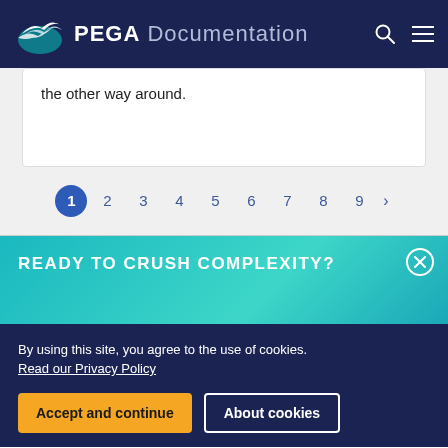PEGA Documentation
the other way around.
1 2 3 4 5 6 7 8 9 >
READY TO CRUSH COMPLEXITY?
By using this site, you agree to the use of cookies. Read our Privacy Policy
Accept and continue   About cookies